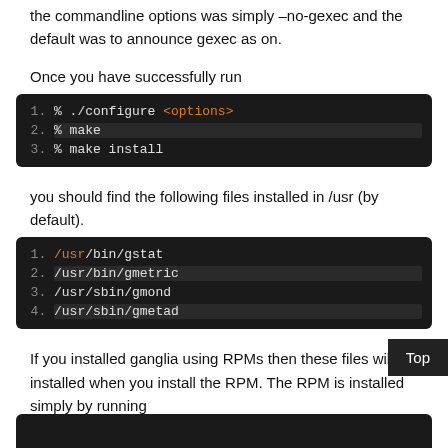the commandline options was simply –no-gexec and the default was to announce gexec as on.
Once you have successfully run
[Figure (screenshot): Code block showing: 1. % ./configure <options>  2. % make  3. % make install]
you should find the following files installed in /usr (by default).
[Figure (screenshot): Code block showing: 1. /usr/bin/gstat  2. /usr/bin/gmetric  3. /usr/sbin/gmond  4. /usr/sbin/gmetad]
If you installed ganglia using RPMs then these files will be installed when you install the RPM. The RPM is installed simply by running